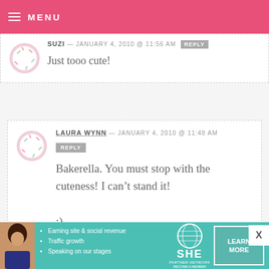MENU
SUZI — JANUARY 4, 2010 @ 11:56 AM  REPLY
Just tooo cute!
LAURA WYNN — JANUARY 4, 2010 @ 11:48 AM  REPLY
Bakerella. You must stop with the cuteness! I can't stand it!
:)
[Figure (infographic): SHE Partner Network advertisement banner with photo, bullet points, logo and Learn More button]